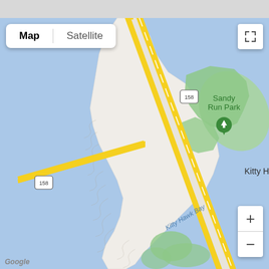[Figure (map): Google Maps view showing Kitty Hawk, North Carolina. The map shows a barrier island with Route 158 running north-south. Sandy Run Park is labeled with a green park icon. Kitty Hawk Bay is labeled in the water to the west. Kill Devil Hills is labeled to the lower right. Wright Brothers National Monument text appears at bottom right. The island is shown in white/light gray, water in light blue, and parks in green. Map/Satellite toggle buttons are shown at top left; fullscreen button at top right; zoom +/- controls at bottom right.]